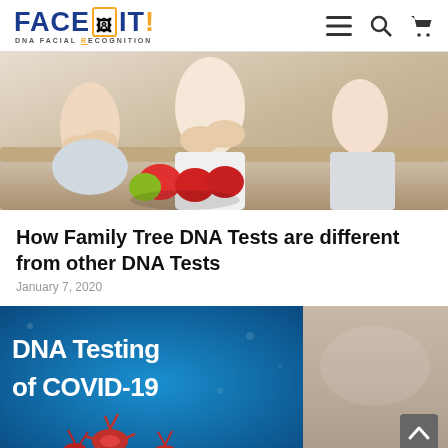FACE IT! DNA FACIAL RECOGNITION
[Figure (photo): Family photo showing adults and a child sitting on a sofa, with apples in foreground]
How Family Tree DNA Tests are different from other DNA Tests
January 7, 2020
[Figure (photo): DNA Testing of COVID-19 promotional image with blue background and virus imagery]
[Figure (photo): Partial image on the right, light tan/beige background]